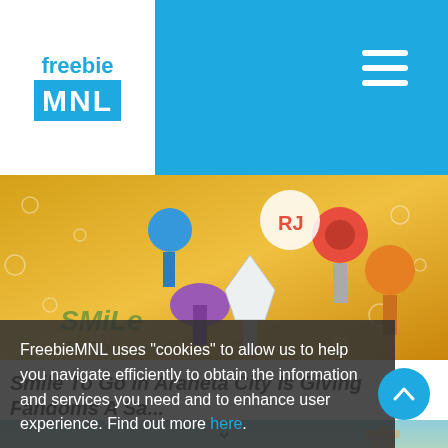freebie MNL
[Figure (photo): K-pop light sticks held in hands against a golden background with water droplets; text 'Smile To Go' visible]
Smile To Go In Araneta City Is Giving Fandoms A Sa...
[Figure (photo): Bellini's restaurant themed image with European landmarks painting]
FreebieMNL uses "cookies" to allow us to help you navigate efficiently to obtain the information and services you need and to enhance user experience. Find out more here.
Okay